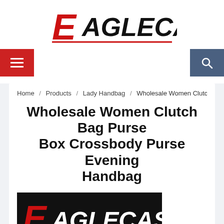[Figure (logo): Eaglecastle logo - stylized red italic E followed by AGLECASTLE in black, underlined in red]
[Figure (other): Navigation bar with red hamburger menu button on left and dark blue search button on right]
Home / Products / Lady Handbag / Wholesale Women Clutch B
Wholesale Women Clutch Bag Purse Box Crossbody Purse Evening Handbag
[Figure (logo): Eaglecastle logo on black background - stylized red italic E followed by AGLECASTLE in white text]